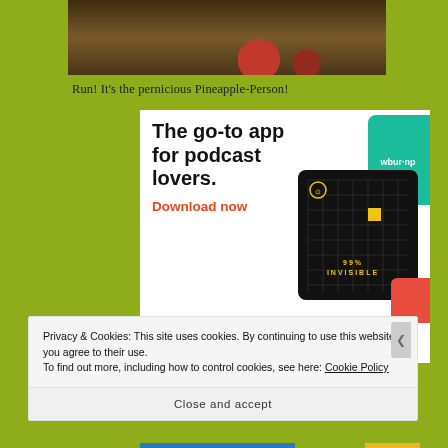[Figure (photo): Top portion of an image showing what appears to be a wooden surface with red round objects (possibly cherries or ornaments), partially cropped at the top of the page.]
Run! It’s the pernicious Pineapple-Person!
[Figure (screenshot): Advertisement for a podcast app: 'The go-to app for podcast lovers. Download now' with podcast app card graphics including 99% Invisible, and other podcast covers shown as app cards on a black grid background.]
Privacy & Cookies: This site uses cookies. By continuing to use this website, you agree to their use.
To find out more, including how to control cookies, see here: Cookie Policy
Close and accept